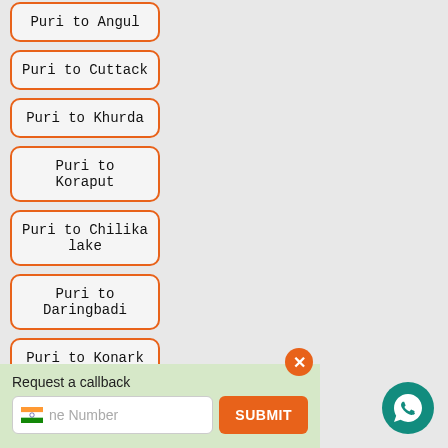Puri to Angul
Puri to Cuttack
Puri to Khurda
Puri to Koraput
Puri to Chilika lake
Puri to Daringbadi
Puri to Konark
Request a callback
Phone Number | SUBMIT
[Figure (logo): WhatsApp circular green icon button]